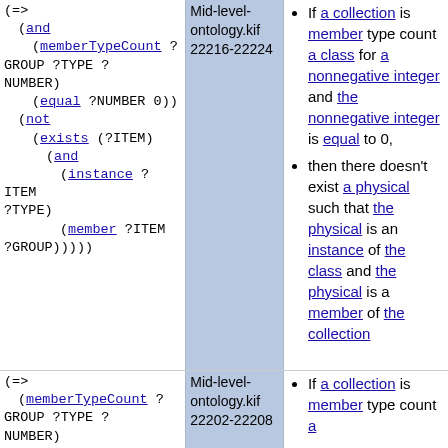(=>
    (and
        (memberTypeCount ?GROUP ?TYPE ?NUMBER)
            (equal ?NUMBER 0))
        (not
            (exists (?ITEM)
                (and
                    (instance ?ITEM ?TYPE)
                    (member ?ITEM ?GROUP)))))
Mid-level-ontology.kif 22216-22224
If a collection is member type count a class for a nonnegative integer and the nonnegative integer is equal to 0,
then there doesn't exist a physical such that the physical is an instance of the class and the physical is a member of the collection
(=>
    (memberTypeCount ?GROUP ?TYPE ?NUMBER)
Mid-level-ontology.kif 22202-22208
If a collection is member type count a